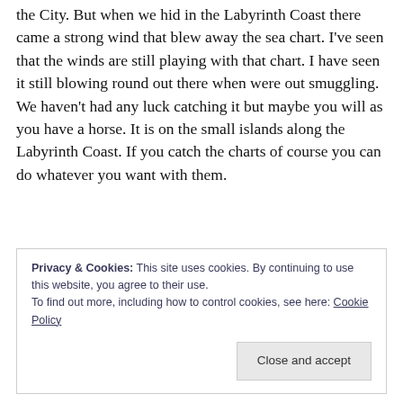the City. But when we hid in the Labyrinth Coast there came a strong wind that blew away the sea chart. I've seen that the winds are still playing with that chart. I have seen it still blowing round out there when were out smuggling. We haven't had any luck catching it but maybe you will as you have a horse. It is on the small islands along the Labyrinth Coast. If you catch the charts of course you can do whatever you want with them.
Objectives: Ride to the Labyrinth Coast and catch the three sea charts that are blowing around in the wind.
Return them to Ki...
Privacy & Cookies: This site uses cookies. By continuing to use this website, you agree to their use.
To find out more, including how to control cookies, see here: Cookie Policy
Close and accept